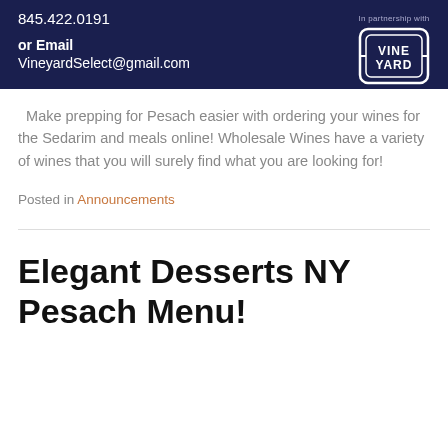845.422.0191
or Email
VineyardSelect@gmail.com
[Figure (logo): Vine Yard logo in white on dark navy background with text 'In partnership with' above it]
Make prepping for Pesach easier with ordering your wines for the Sedarim and meals online! Wholesale Wines have a variety of wines that you will surely find what you are looking for!
Posted in Announcements
Elegant Desserts NY Pesach Menu!